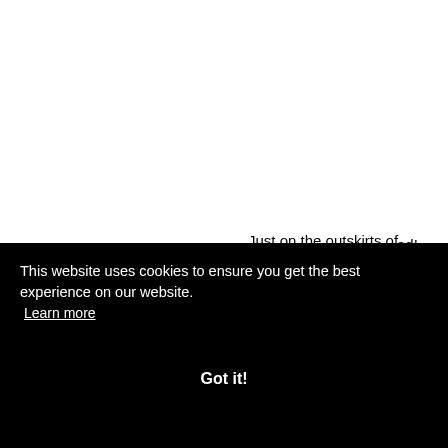Just on the outskirts of Chiang Mai, this mountain is perfect for a first acclimatisation ride, an introduction to …ad!
[Figure (screenshot): Green button partially visible showing 'lore' (part of 'Explore more' or similar)]
This website uses cookies to ensure you get the best experience on our website. Learn more
Got it!